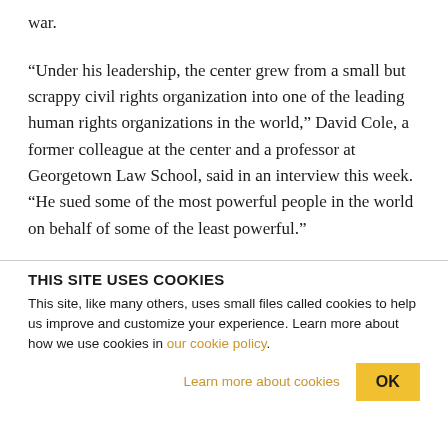war.
“Under his leadership, the center grew from a small but scrappy civil rights organization into one of the leading human rights organizations in the world,” David Cole, a former colleague at the center and a professor at Georgetown Law School, said in an interview this week. “He sued some of the most powerful people in the world on behalf of some of the least powerful.”
THIS SITE USES COOKIES
This site, like many others, uses small files called cookies to help us improve and customize your experience. Learn more about how we use cookies in our cookie policy.
Learn more about cookies
OK